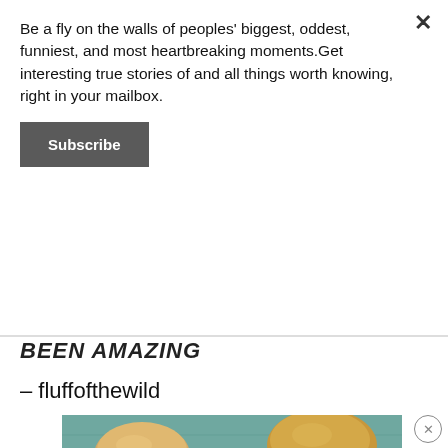Be a fly on the walls of peoples' biggest, oddest, funniest, and most heartbreaking moments.Get interesting true stories of and all things worth knowing, right in your mailbox.
Subscribe
BEEN AMAZING
– fluffofthewild
[Figure (photo): Advertisement photo showing a plate of crispy fried chicken tenders/pieces with a small black bowl of orange dipping sauce, and dinner rolls in the background on a teal wooden surface with a white napkin.]